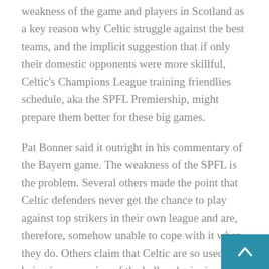weakness of the game and players in Scotland as a key reason why Celtic struggle against the best teams, and the implicit suggestion that if only their domestic opponents were more skillful, Celtic's Champions League training friendlies schedule, aka the SPFL Premiership, might prepare them better for these big games.
Pat Bonner said it outright in his commentary of the Bayern game. The weakness of the SPFL is the problem. Several others made the point that Celtic defenders never get the chance to play against top strikers in their own league and are, therefore, somehow unable to cope with it when they do. Others claim that Celtic are so used to being in possession of the ball and winning games easily at home, that when they face a top-quality opponent, they are suddenly caught like a rabbit in headlights without the faintest clue what to do.